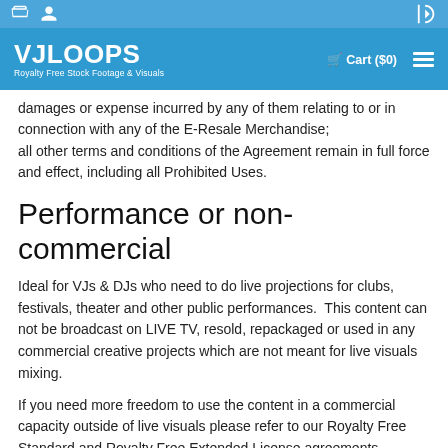VJLoops - Royalty Free Stock Footage & Visuals | Cart ($0)
damages or expense incurred by any of them relating to or in connection with any of the E-Resale Merchandise; all other terms and conditions of the Agreement remain in full force and effect, including all Prohibited Uses.
Performance or non-commercial
Ideal for VJs & DJs who need to do live projections for clubs, festivals, theater and other public performances.  This content can not be broadcast on LIVE TV, resold, repackaged or used in any commercial creative projects which are not meant for live visuals mixing.
If you need more freedom to use the content in a commercial capacity outside of live visuals please refer to our Royalty Free Standard and Royalty Free Extended License agreements.